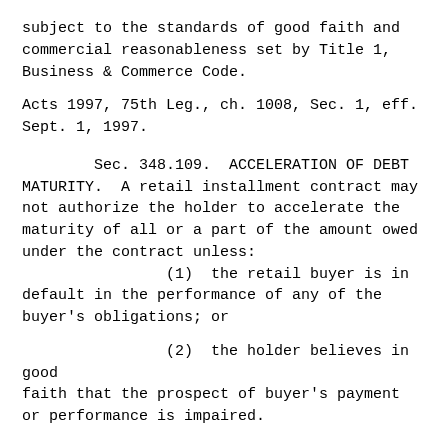subject to the standards of good faith and commercial reasonableness set by Title 1, Business & Commerce Code.
Acts 1997, 75th Leg., ch. 1008, Sec. 1, eff. Sept. 1, 1997.
Sec. 348.109.  ACCELERATION OF DEBT MATURITY.  A retail installment contract may not authorize the holder to accelerate the maturity of all or a part of the amount owed under the contract unless:
(1)  the retail buyer is in default in the performance of any of the buyer's obligations; or
(2)  the holder believes in good faith that the prospect of buyer's payment or performance is impaired.